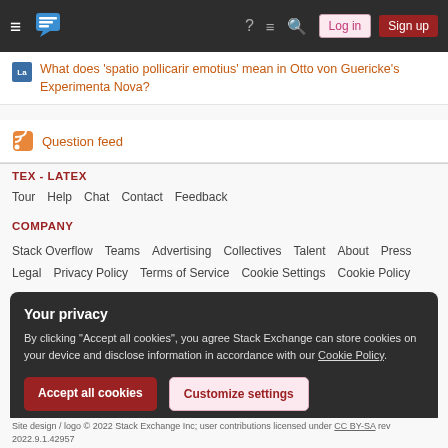Stack Exchange navigation bar with hamburger menu, logo, help, chat, search icons, Log in and Sign up buttons
What does 'spatio pollicarir emotius' mean in Otto von Guericke's Experimenta Nova?
Question feed
TEX - LATEX
Tour  Help  Chat  Contact  Feedback
COMPANY
Stack Overflow  Teams  Advertising  Collectives  Talent  About  Press
Legal  Privacy Policy  Terms of Service  Cookie Settings  Cookie Policy
Your privacy
By clicking "Accept all cookies", you agree Stack Exchange can store cookies on your device and disclose information in accordance with our Cookie Policy.
Accept all cookies  Customize settings
Site design / logo © 2022 Stack Exchange Inc; user contributions licensed under CC BY-SA  rev 2022.9.1.42957